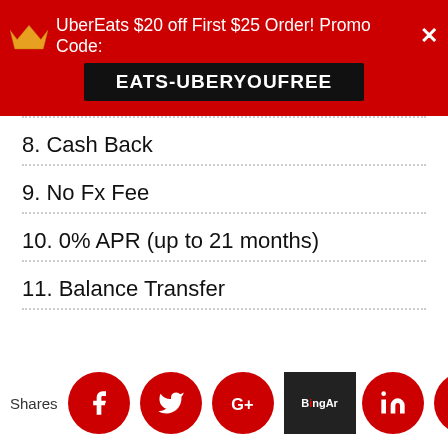[Figure (screenshot): Red advertisement banner for UberEats: '$20 off First $25 Order! Promo Code: EATS-UBERYOUFREE' with a crown icon and close button]
8. Cash Back
9. No Fx Fee
10. 0% APR (up to 21 months)
11. Balance Transfer
Shares [Facebook] [Twitter] [Google+] [BingingAr...] [LinkedIn] [Crown]